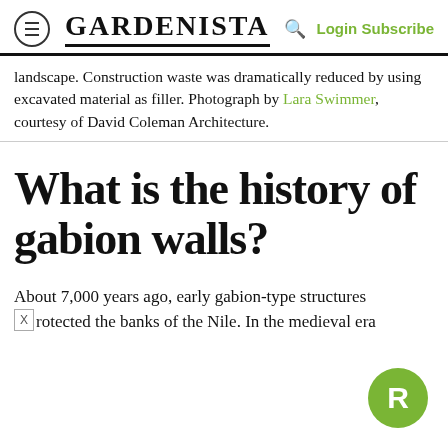GARDENISTA — Login Subscribe
landscape. Construction waste was dramatically reduced by using excavated material as filler. Photograph by Lara Swimmer, courtesy of David Coleman Architecture.
What is the history of gabion walls?
About 7,000 years ago, early gabion-type structures protected the banks of the Nile. In the medieval era